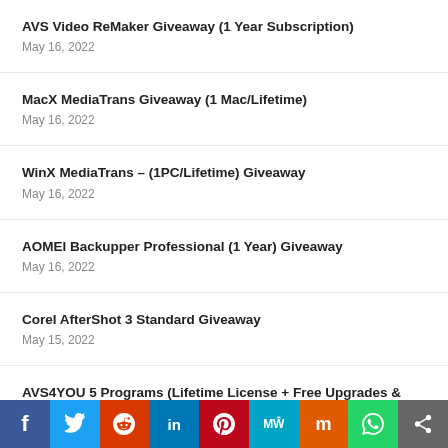AVS Video ReMaker Giveaway (1 Year Subscription)
May 16, 2022
MacX MediaTrans Giveaway (1 Mac/Lifetime)
May 16, 2022
WinX MediaTrans – (1PC/Lifetime) Giveaway
May 16, 2022
AOMEI Backupper Professional (1 Year) Giveaway
May 16, 2022
Corel AfterShot 3 Standard Giveaway
May 15, 2022
AVS4YOU 5 Programs (Lifetime License + Free Upgrades & Support) For $39
May 15, 2022
f | Twitter | Reddit | in | Pinterest | MW | Mix | WhatsApp | Share